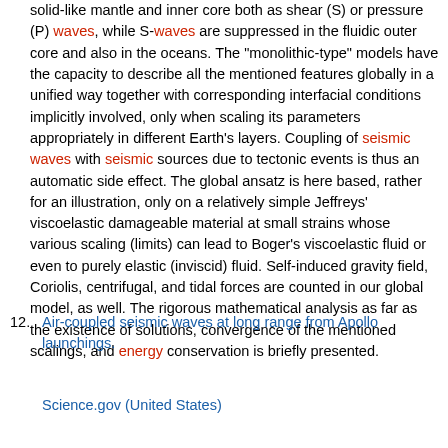solid-like mantle and inner core both as shear (S) or pressure (P) waves, while S-waves are suppressed in the fluidic outer core and also in the oceans. The "monolithic-type" models have the capacity to describe all the mentioned features globally in a unified way together with corresponding interfacial conditions implicitly involved, only when scaling its parameters appropriately in different Earth's layers. Coupling of seismic waves with seismic sources due to tectonic events is thus an automatic side effect. The global ansatz is here based, rather for an illustration, only on a relatively simple Jeffreys' viscoelastic damageable material at small strains whose various scaling (limits) can lead to Boger's viscoelastic fluid or even to purely elastic (inviscid) fluid. Self-induced gravity field, Coriolis, centrifugal, and tidal forces are counted in our global model, as well. The rigorous mathematical analysis as far as the existence of solutions, convergence of the mentioned scalings, and energy conservation is briefly presented.
12. Air-coupled seismic waves at long range from Apollo launchings.
Science.gov (United States)